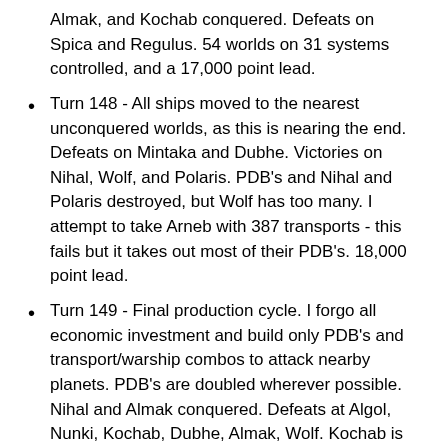Almak, and Kochab conquered. Defeats on Spica and Regulus. 54 worlds on 31 systems controlled, and a 17,000 point lead.
Turn 148 - All ships moved to the nearest unconquered worlds, as this is nearing the end. Defeats on Mintaka and Dubhe. Victories on Nihal, Wolf, and Polaris. PDB's and Nihal and Polaris destroyed, but Wolf has too many. I attempt to take Arneb with 387 transports - this fails but it takes out most of their PDB's. 18,000 point lead.
Turn 149 - Final production cycle. I forgo all economic investment and build only PDB's and transport/warship combos to attack nearby planets. PDB's are doubled wherever possible. Nihal and Almak conquered. Defeats at Algol, Nunki, Kochab, Dubhe, Almak, Wolf. Kochab is lost, and the planet on Almak is retaken. Victories at Arneb, Tarazed, Polaris, and Diphda, and all PDB's on these planets are destroyed. One